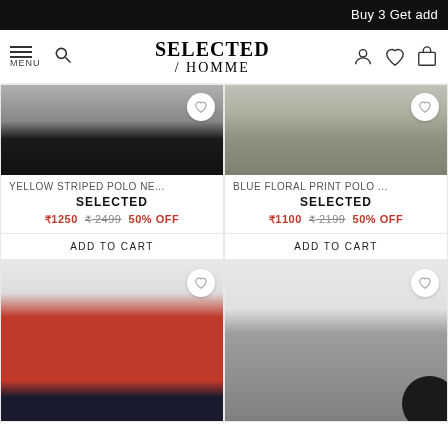Buy 3 Get add
[Figure (screenshot): Selected Homme e-commerce website navigation bar with hamburger menu, search icon, brand logo 'SELECTED / HOMME', and icons for account, wishlist, and cart]
[Figure (photo): Yellow Striped Polo product image showing lower half of model wearing dark pants]
YELLOW STRIPED POLO NE...
SELECTED
₹1250 ₹2499 50% OFF
ADD TO CART
[Figure (photo): Blue Floral Print Polo product image showing lower half of model wearing khaki trousers]
BLUE FLORAL PRINT POLO ...
SELECTED
₹1100 ₹2199 50% OFF
ADD TO CART
[Figure (photo): Red polo shirt worn by model with sunglasses, with white stripe across chest]
[Figure (photo): Grey polo shirt worn by model with sunglasses, with black circle overlay in bottom right corner]